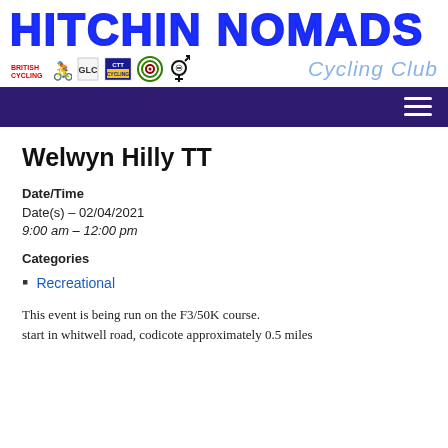HITCHIN NOMADS Cycling Club
Welwyn Hilly TT
Date/Time
Date(s) - 02/04/2021
9:00 am - 12:00 pm
Categories
Recreational
This event is being run on the F3/50K course. start in whitwell road, codicote approximately 0.5 miles